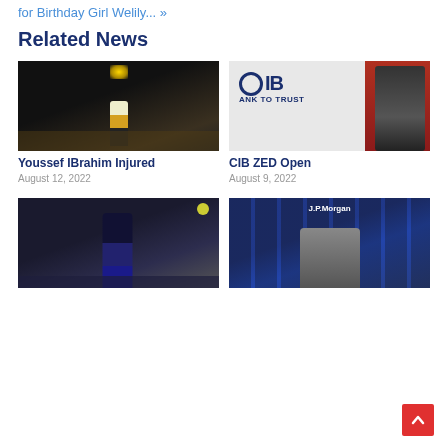for Birthday Girl Welily... »
Related News
[Figure (photo): Squash player celebrating on court with crowd and chandelier lights in background]
[Figure (photo): Female squash player in red kit in front of CIB Bank to Trust banner]
Youssef IBrahim Injured
CIB ZED Open
August 12, 2022
August 9, 2022
[Figure (photo): Female squash player in dark kit on court]
[Figure (photo): Two players holding trophy in front of JP Morgan branding at squash event]